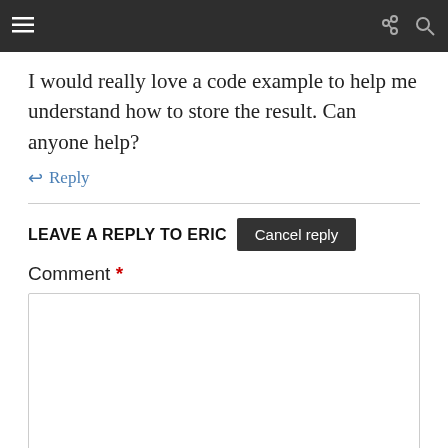I would really love a code example to help me understand how to store the result. Can anyone help?
↩ Reply
LEAVE A REPLY TO ERIC  Cancel reply
Comment *
Name *